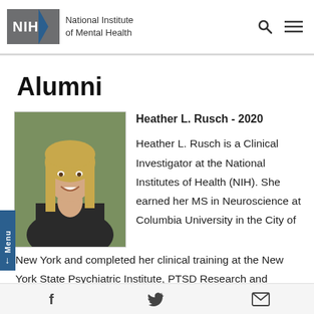NIH National Institute of Mental Health
Alumni
[Figure (photo): Headshot of Heather L. Rusch, a woman with long blonde hair, smiling, wearing a dark leather jacket, with green foliage in the background.]
Heather L. Rusch - 2020
Heather L. Rusch is a Clinical Investigator at the National Institutes of Health (NIH). She earned her MS in Neuroscience at Columbia University in the City of New York and completed her clinical training at the New York State Psychiatric Institute, PTSD Research and
f  [Twitter bird icon]  [Email icon]